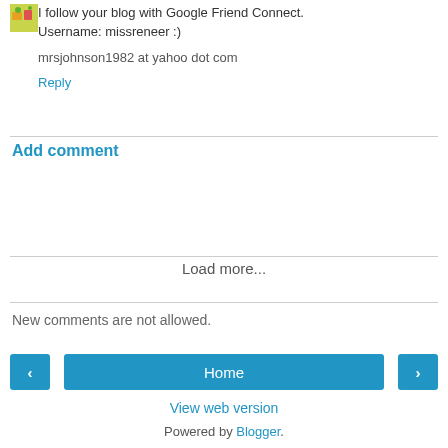I follow your blog with Google Friend Connect. Username: missreneer :)
mrsjohnson1982 at yahoo dot com
Reply
Add comment
Load more...
New comments are not allowed.
Home
View web version
Powered by Blogger.